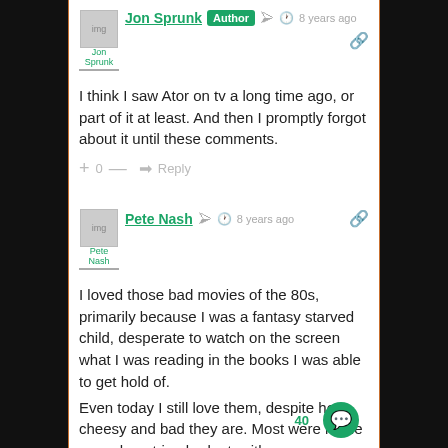Jon Sprunk Author ⟨share⟩ 🕐 8 years ago 🔗
I think I saw Ator on tv a long time ago, or part of it at least. And then I promptly forgot about it until these comments.
+ 0 — ➜ Reply
Pete Nash ⟨share⟩ 🕐 8 years ago 🔗
I loved those bad movies of the 80s, primarily because I was a fantasy starved child, desperate to watch on the screen what I was reading in the books I was able to get hold of.
Even today I still love them, despite how cheesy and bad they are. Most were made on a shoestring budget, with